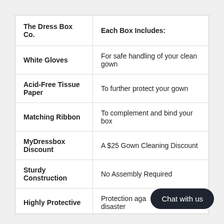| The Dress Box Co. | Each Box Includes: |
| --- | --- |
| White Gloves | For safe handling of your clean gown |
| Acid-Free Tissue Paper | To further protect your gown |
| Matching Ribbon | To complement and bind your box |
| MyDressbox Discount | A $25 Gown Cleaning Discount |
| Sturdy Construction | No Assembly Required |
| Highly Protective | Protection aga... disaster |
Chat with us